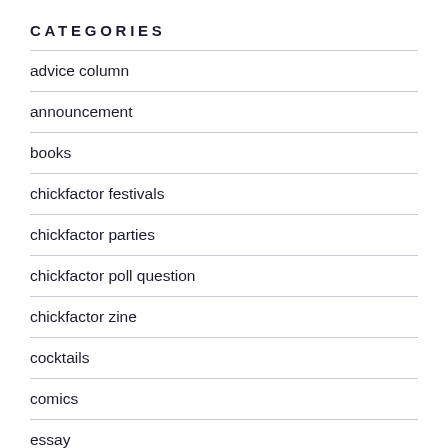CATEGORIES
advice column
announcement
books
chickfactor festivals
chickfactor parties
chickfactor poll question
chickfactor zine
cocktails
comics
essay